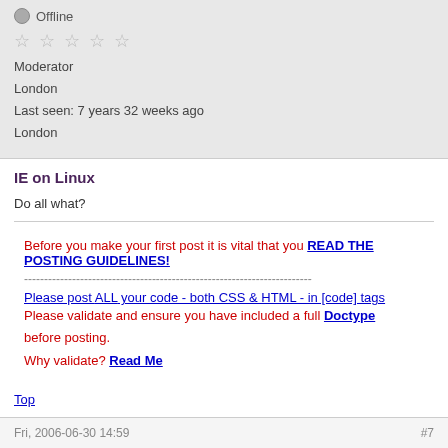Offline
★★★★★ Moderator
London
Last seen: 7 years 32 weeks ago
London
IE on Linux
Do all what?
Before you make your first post it is vital that you READ THE POSTING GUIDELINES!
Please post ALL your code - both CSS & HTML - in [code] tags
Please validate and ensure you have included a full Doctype before posting.
Why validate? Read Me
Top
Fri, 2006-06-30 14:59   #7